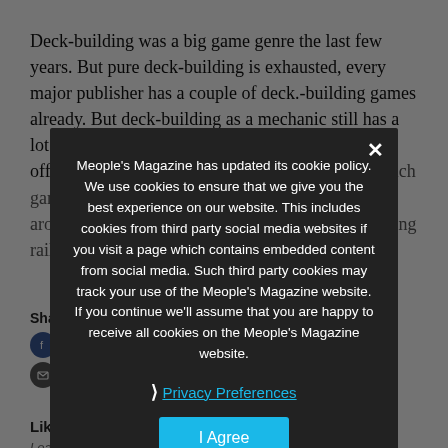Deck-building was a big game genre the last few years. But pure deck-building is exhausted, every major publisher has a couple of deck.-building games already. But deck-building as a mechanic still has a lot to offer, and incorporating it into a larger game offers many options yet to explore. Trains is one such game that takes deck-building and incorporates it around it. So building your deck also requires placing rails across...
Share this:
Facebook
Email
Like this:
Loading...
Meople's Magazine has updated its cookie policy. We use cookies to ensure that we give you the best experience on our website. This includes cookies from third party social media websites if you visit a page which contains embedded content from social media. Such third party cookies may track your use of the Meople's Magazine website. If you continue we'll assume that you are happy to receive all cookies on the Meople's Magazine website.
Privacy Preferences
I Agree